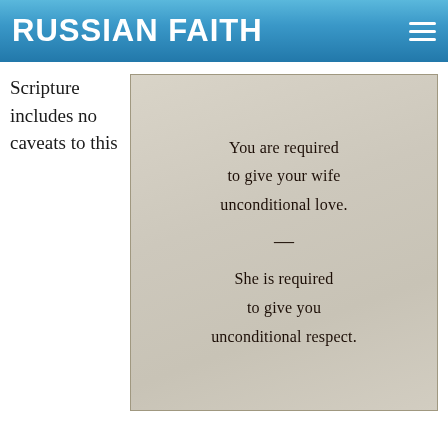RUSSIAN FAITH
Scripture includes no caveats to this
[Figure (photo): Aged paper image with printed text: 'You are required to give your wife unconditional love. — She is required to give you unconditional respect.']